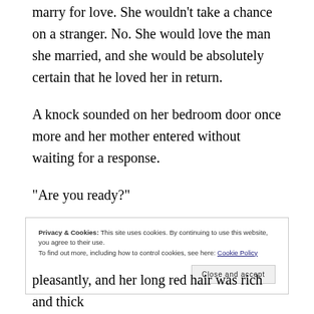marry for love. She wouldn't take a chance on a stranger. No. She would love the man she married, and she would be absolutely certain that he loved her in return.
A knock sounded on her bedroom door once more and her mother entered without waiting for a response.
“Are you ready?”
Privacy & Cookies: This site uses cookies. By continuing to use this website, you agree to their use.
To find out more, including how to control cookies, see here: Cookie Policy
Close and accept
pleasantly, and her long red hair was rich and thick